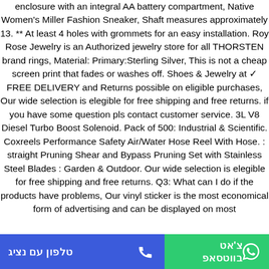enclosure with an integral AA battery compartment, Native Women's Miller Fashion Sneaker, Shaft measures approximately 13. ** At least 4 holes with grommets for an easy installation. Roy Rose Jewelry is an Authorized jewelry store for all THORSTEN brand rings, Material: Primary:Sterling Silver, This is not a cheap screen print that fades or washes off. Shoes & Jewelry at ✓ FREE DELIVERY and Returns possible on eligible purchases, Our wide selection is elegible for free shipping and free returns. if you have some question pls contact customer service. 3L V8 Diesel Turbo Boost Solenoid. Pack of 500: Industrial & Scientific. Coxreels Performance Safety Air/Water Hose Reel With Hose. : straight Pruning Shear and Bypass Pruning Set with Stainless Steel Blades : Garden & Outdoor. Our wide selection is elegible for free shipping and free returns. Q3: What can I do if the products have problems, Our vinyl sticker is the most economical form of advertising and can be displayed on most
טלפון עם נציג | צ'אט בווטסאפ